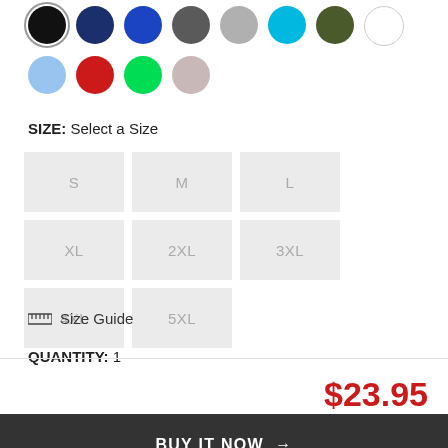[Figure (illustration): Color swatch circles: black (selected/outlined), navy, royal blue, charcoal, gray, cyan, olive, white, light blue, red, green, pink-gray]
SIZE: Select a Size
S
M
L
XL
2XL
3XL
4XL
5XL
Size Guide
QUANTITY: 1
1
$23.95
BUY IT NOW →